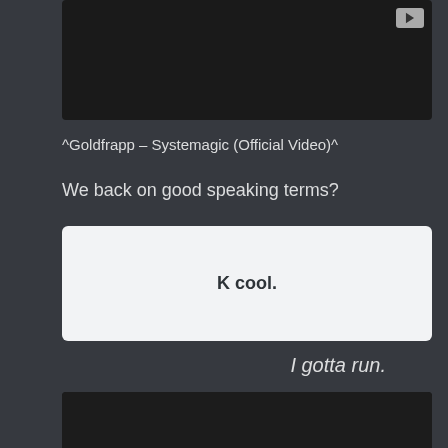[Figure (screenshot): YouTube video embed, dark background with YouTube play button icon in bottom-right corner]
^Goldfrapp – Systemagic (Official Video)^
We back on good speaking terms?
K cool.
I gotta run.
[Figure (screenshot): YouTube video embed showing 'Video unavailable' error. Text reads: 'This video is no longer available because the YouTube account associated with this video has']